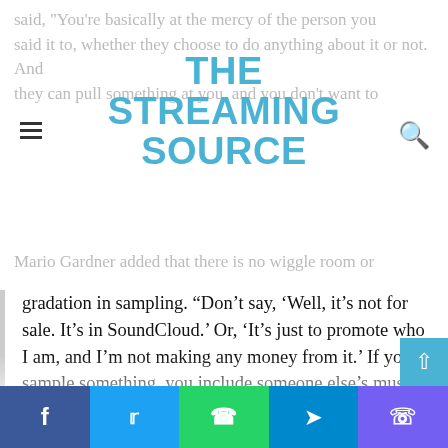THE STREAMING SOURCE
said, "You're basically at the mercy of the person you said it to, whether they choose to do anything about it or not. And they can pull something at you, and you don't want to
Mario Gardner added that there is no wiggle room or gradation in sampling. “Don’t say, ‘Well, it’s not for sale. It’s in SoundCloud.’ Or, ‘It’s just to promote who I am, and I’m not making any money from it.’ If you sample something, you include someone else’s music in your music, you have to do the right thing and you have to clean it up. There’s no way around that. “
Even if you decide to release the song at the risk of it, a sample can be demanded to be cleared at any time, he insists. “It will always catch up with you,” he says. “I’m constantly working with famous artists who did